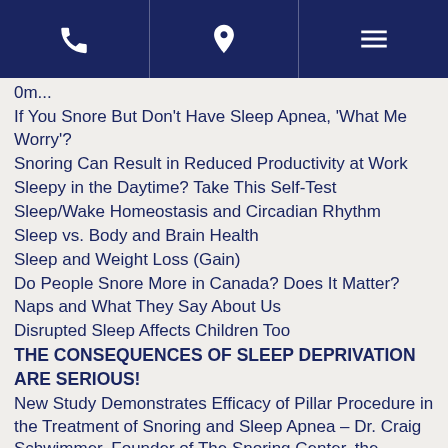Navigation bar with phone, location, and menu icons
0m...
If You Snore But Don't Have Sleep Apnea, 'What Me Worry'?
Snoring Can Result in Reduced Productivity at Work
Sleepy in the Daytime? Take This Self-Test
Sleep/Wake Homeostasis and Circadian Rhythm
Sleep vs. Body and Brain Health
Sleep and Weight Loss (Gain)
Do People Snore More in Canada? Does It Matter?
Naps and What They Say About Us
Disrupted Sleep Affects Children Too
THE CONSEQUENCES OF SLEEP DEPRIVATION ARE SERIOUS!
New Study Demonstrates Efficacy of Pillar Procedure in the Treatment of Snoring and Sleep Apnea – Dr. Craig Schwimmer, Founder of The Snoring Center, the nation's leading provider of the Pillar Procedure, comments on the study.